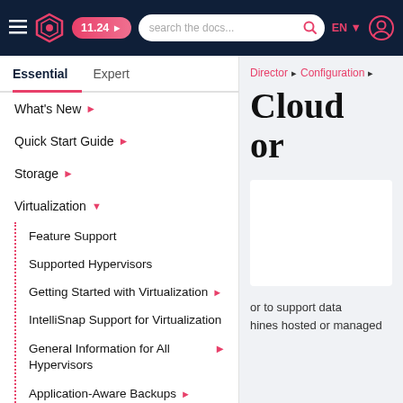11.24 > | search the docs... | EN | [user icon]
Essential | Expert
What's New >
Quick Start Guide >
Storage >
Virtualization (expanded)
Feature Support
Supported Hypervisors
Getting Started with Virtualization >
IntelliSnap Support for Virtualization
General Information for All Hypervisors >
Application-Aware Backups >
Cross-Hypervisor Restores (VM Conversion) >
Alibaba Cloud >
Director > Configuration >
Cloud or
or to support data hines hosted or managed